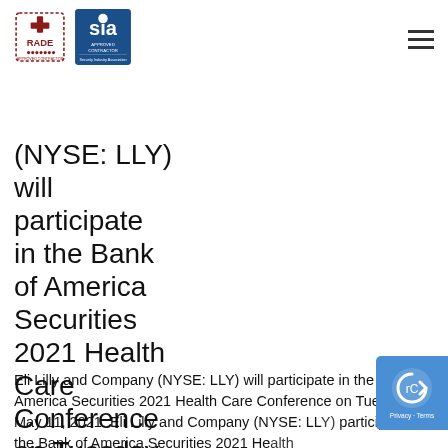[Figure (logo): RADE logo and SIA Approved Contractor logo in page header, with hamburger menu icon on right]
(NYSE: LLY) will participate in the Bank of America Securities 2021 Health Care Conference on Tuesday, May 11, 2021. Eli Lilly
Eli Lilly and Company (NYSE: LLY) will participate in the Bank of America Securities 2021 Health Care Conference on Tuesday, May 11, 2021. Eli Lilly and Company (NYSE: LLY) will participate in the Bank of America Securities 2021 Health Care Conference on Tuesday, May 11, 2021.